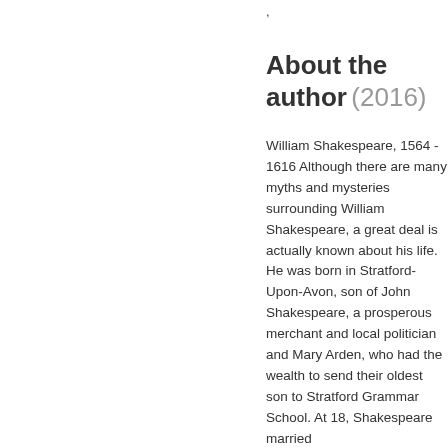,
About the author (2016)
William Shakespeare, 1564 - 1616 Although there are many myths and mysteries surrounding William Shakespeare, a great deal is actually known about his life. He was born in Stratford-Upon-Avon, son of John Shakespeare, a prosperous merchant and local politician and Mary Arden, who had the wealth to send their oldest son to Stratford Grammar School. At 18, Shakespeare married